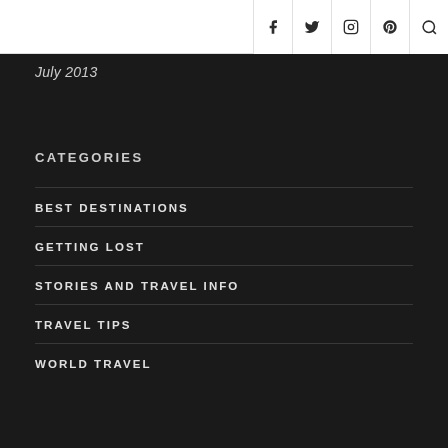Social icons: f, Twitter, Instagram, Pinterest, Search
July 2013
CATEGORIES
BEST DESTINATIONS
GETTING LOST
STORIES AND TRAVEL INFO
TRAVEL TIPS
WORLD TRAVEL